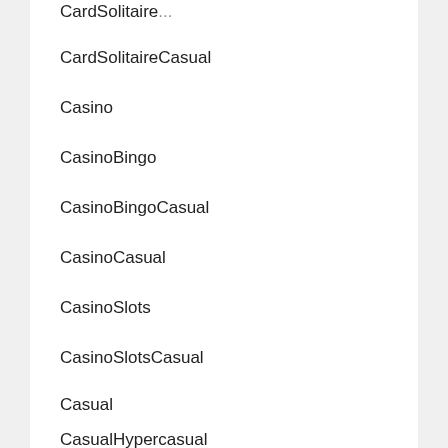CardSolitaireCasual
Casino
CasinoBingo
CasinoBingoCasual
CasinoCasual
CasinoSlots
CasinoSlotsCasual
Casual
CasualHypercasual